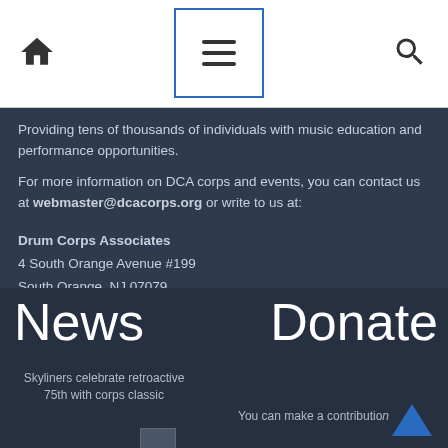[Figure (screenshot): Navigation bar with home icon, hamburger menu (highlighted with blue border), and search icon]
Providing tens of thousands of individuals with music education and performance opportunities.
For more information on DCA corps and events, you can contact us at webmaster@dcacorps.org or write to us at:
Drum Corps Associates
4 South Orange Avenue #199
South Orange, NJ 07079
News
Donate
Skyliners celebrate retroactive 75th with corps classic
You can make a contribution